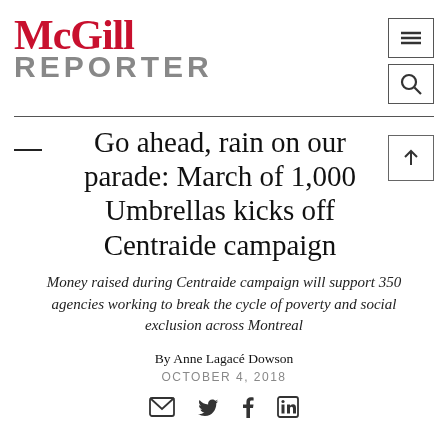McGill REPORTER
Go ahead, rain on our parade: March of 1,000 Umbrellas kicks off Centraide campaign
Money raised during Centraide campaign will support 350 agencies working to break the cycle of poverty and social exclusion across Montreal
By Anne Lagacé Dowson
OCTOBER 4, 2018